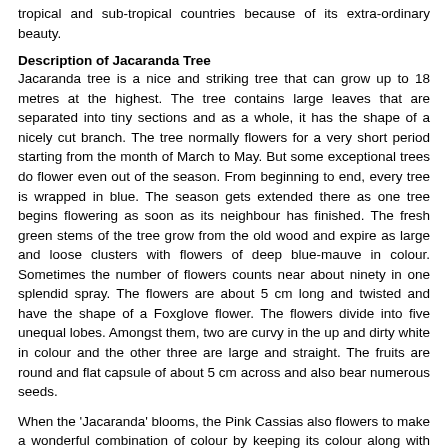tropical and sub-tropical countries because of its extra-ordinary beauty.
Description of Jacaranda Tree
Jacaranda tree is a nice and striking tree that can grow up to 18 metres at the highest. The tree contains large leaves that are separated into tiny sections and as a whole, it has the shape of a nicely cut branch. The tree normally flowers for a very short period starting from the month of March to May. But some exceptional trees do flower even out of the season. From beginning to end, every tree is wrapped in blue. The season gets extended there as one tree begins flowering as soon as its neighbour has finished. The fresh green stems of the tree grow from the old wood and expire as large and loose clusters with flowers of deep blue-mauve in colour. Sometimes the number of flowers counts near about ninety in one splendid spray. The flowers are about 5 cm long and twisted and have the shape of a Foxglove flower. The flowers divide into five unequal lobes. Amongst them, two are curvy in the up and dirty white in colour and the other three are large and straight. The fruits are round and flat capsule of about 5 cm across and also bear numerous seeds.
When the 'Jacaranda' blooms, the Pink Cassias also flowers to make a wonderful combination of colour by keeping its colour along with that of 'Jacaranda'. However, in India, this tree doesn't have too much of medicinal value. 'J. Filicifolia' is another specie of 'Jacaranda' that is also found all over India. Here, the leaflets are larger and the flowers are smaller than that of 'Jacaranda'. 'Filicifolia' means a tree that has leaves like a fern. The wood of this tree contains a very pleasant